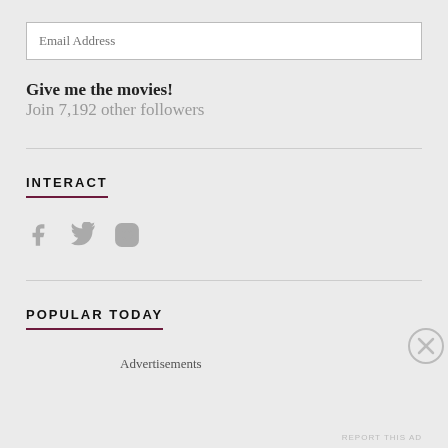Email Address
Give me the movies!
Join 7,192 other followers
INTERACT
[Figure (illustration): Social media icons: Facebook, Twitter, Instagram in gray]
POPULAR TODAY
Advertisements
REPORT THIS AD